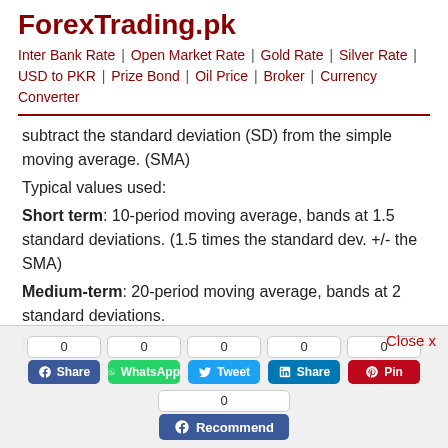ForexTrading.pk
Inter Bank Rate | Open Market Rate | Gold Rate | Silver Rate | USD to PKR | Prize Bond | Oil Price | Broker | Currency Converter
subtract the standard deviation (SD) from the simple moving average. (SMA)
Typical values used:
Short term: 10-period moving average, bands at 1.5 standard deviations. (1.5 times the standard dev. +/- the SMA)
Medium-term: 20-period moving average, bands at 2 standard deviations.
Long term: 50-period moving average, bands at 2.5 standard deviations.
[Figure (screenshot): Social share buttons overlay with counts of 0 for Facebook Share, WhatsApp, Tweet, LinkedIn Share, Pinterest Pin, and Facebook Recommend. Close x button visible.]
volatility, it raises the likelihood of a sharp price